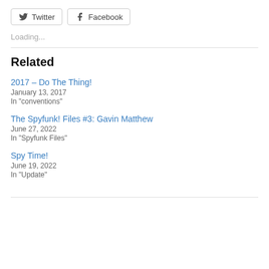Twitter  Facebook
Loading...
Related
2017 – Do The Thing!
January 13, 2017
In "conventions"
The Spyfunk! Files #3: Gavin Matthew
June 27, 2022
In "Spyfunk Files"
Spy Time!
June 19, 2022
In "Update"